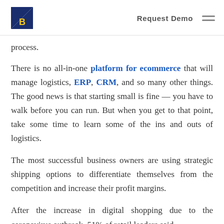Request Demo
process.
There is no all-in-one platform for ecommerce that will manage logistics, ERP, CRM, and so many other things. The good news is that starting small is fine — you have to walk before you can run. But when you get to that point, take some time to learn some of the ins and outs of logistics.
The most successful business owners are using strategic shipping options to differentiate themselves from the competition and increase their profit margins.
After the increase in digital shopping due to the coronavirus outbreak, 51% of retail leaders said